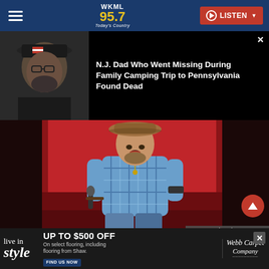WKML 95.7 Today's Country — LISTEN
[Figure (photo): Thumbnail photo of a man wearing a black cap with American flag patch and black shirt]
N.J. Dad Who Went Missing During Family Camping Trip to Pennsylvania Found Dead
[Figure (photo): Concert photo of a male country singer wearing a plaid shirt and cowboy hat, holding a microphone, performing on a red-lit stage. Credit: Steven Ferdman/Getty Images]
[Figure (other): Advertisement banner: live in style — UP TO $500 OFF on select flooring, including flooring from Shaw. Webb Carpet Company. FIND US NOW.]
Steven Ferdman/Getty Images